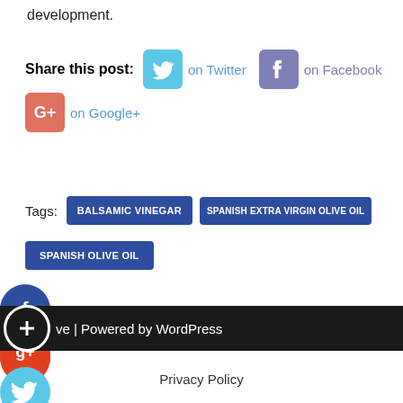development.
Share this post:  on Twitter  on Facebook  on Google+
BALSAMIC VINEGAR
SPANISH EXTRA VIRGIN OLIVE OIL
SPANISH OLIVE OIL
[Figure (logo): Facebook circle share button]
[Figure (logo): Google+ circle share button]
[Figure (logo): Twitter circle share button]
[Figure (logo): Plus/add circle button]
ve | Powered by WordPress
Privacy Policy